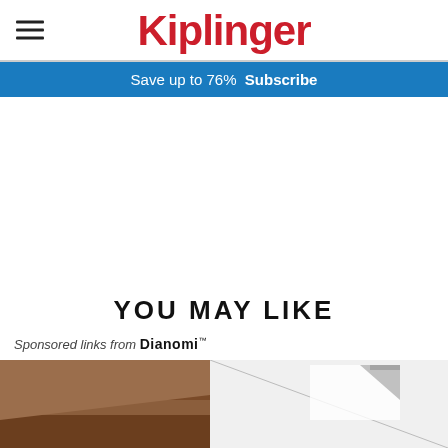Kiplinger
Save up to 76%  Subscribe
YOU MAY LIKE
Sponsored links from Dianomi
[Figure (photo): Partial view of a desk with wooden surface and papers, partially visible image of a person]